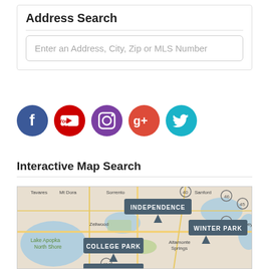Address Search
Enter an Address, City, Zip or MLS Number
[Figure (other): Social media icons: Facebook (blue), YouTube (red), Instagram (purple), Google+ (red), Twitter (teal)]
Interactive Map Search
[Figure (map): Interactive map showing Central Florida area with labeled neighborhoods: Independence, Winter Park, College Park. Shows cities including Tavares, Mt Dora, Sorrento, Sanford, Zellwood, Lake Apopka North Shore, Altamonte Springs, Oviedo, Geneva. Roads including 417, 414, 46, 45 visible.]